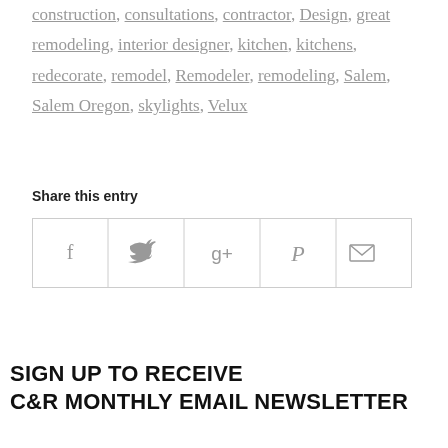construction, consultations, contractor, Design, great remodeling, interior designer, kitchen, kitchens, redecorate, remodel, Remodeler, remodeling, Salem, Salem Oregon, skylights, Velux
Share this entry
[Figure (infographic): Social share buttons row with 5 cells: Facebook (f), Twitter (bird), Google+ (g+), Pinterest (P), Email (envelope)]
SIGN UP TO RECEIVE C&R MONTHLY EMAIL NEWSLETTER